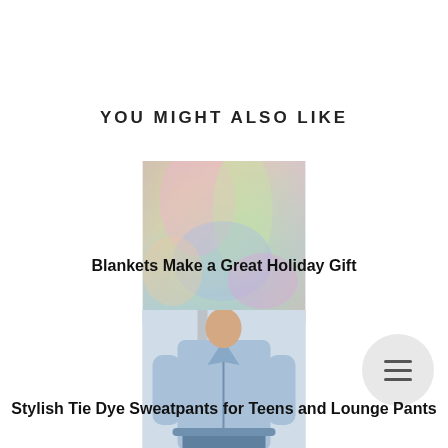YOU MIGHT ALSO LIKE
[Figure (photo): Colorful tie-dye blanket with pink, yellow, blue and green colors]
Blankets Make a Great Holiday Gift
[Figure (photo): Person wearing a light blue denim shirt tied at the waist, standing in front of a mirror]
Stylish Tie Dye Sweatpants for Teens and Lounge Pants